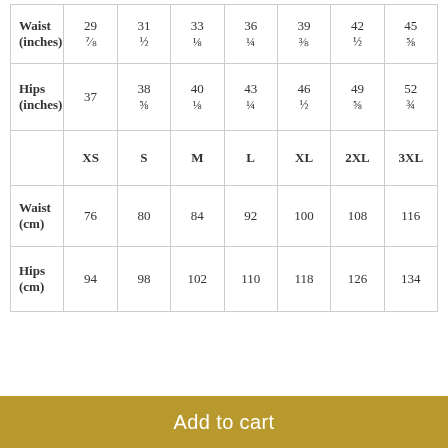|  | XS | S | M | L | XL | 2XL | 3XL |
| --- | --- | --- | --- | --- | --- | --- | --- |
| Waist (inches) | 29 ⁷⁄₈ | 31 ½ | 33 ⅛ | 36 ¼ | 39 ³⁄₈ | 42 ½ | 45 ⅝ |
| Hips (inches) | 37 | 38 ⅝ | 40 ⅛ | 43 ¼ | 46 ½ | 49 ⅝ | 52 ¾ |
|  | XS | S | M | L | XL | 2XL | 3XL |
| Waist (cm) | 76 | 80 | 84 | 92 | 100 | 108 | 116 |
| Hips (cm) | 94 | 98 | 102 | 110 | 118 | 126 | 134 |
Add to cart